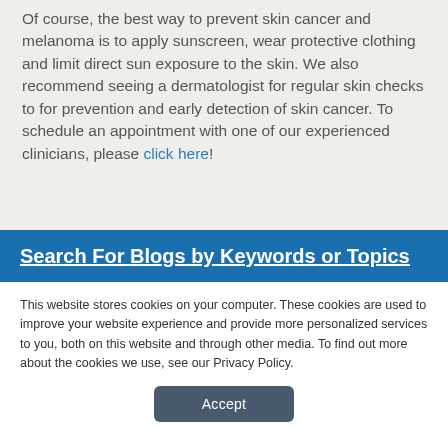Of course, the best way to prevent skin cancer and melanoma is to apply sunscreen, wear protective clothing and limit direct sun exposure to the skin. We also recommend seeing a dermatologist for regular skin checks to for prevention and early detection of skin cancer. To schedule an appointment with one of our experienced clinicians, please click here!
Search For Blogs by Keywords or Topics
This website stores cookies on your computer. These cookies are used to improve your website experience and provide more personalized services to you, both on this website and through other media. To find out more about the cookies we use, see our Privacy Policy.
Accept